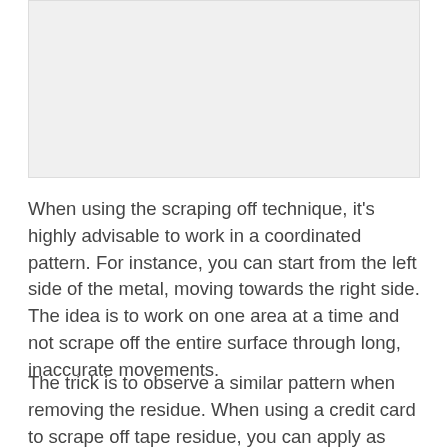[Figure (photo): Image placeholder showing a light gray rectangle]
When using the scraping off technique, it's highly advisable to work in a coordinated pattern. For instance, you can start from the left side of the metal, moving towards the right side. The idea is to work on one area at a time and not scrape off the entire surface through long, inaccurate movements.
The trick is to observe a similar pattern when removing the residue. When using a credit card to scrape off tape residue, you can apply as much force